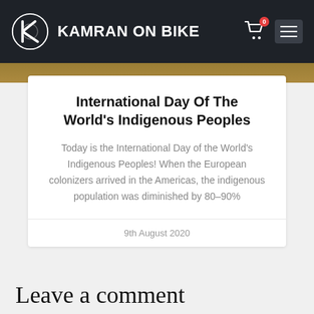KAMRAN ON BIKE
International Day Of The World's Indigenous Peoples
Today is the International Day of the World's Indigenous Peoples! When the European colonizers arrived in the Americas, the indigenous population was diminished by 80–90%
9th August 2020
Leave a comment